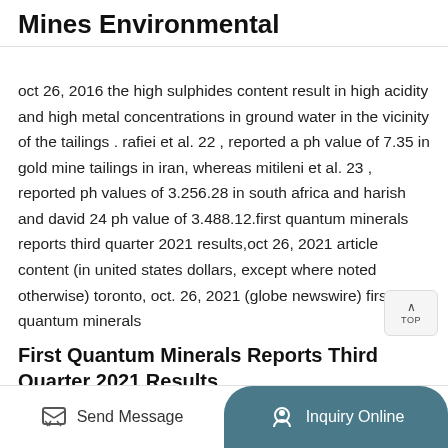Mines Environmental
oct 26, 2016 the high sulphides content result in high acidity and high metal concentrations in ground water in the vicinity of the tailings . rafiei et al. 22 , reported a ph value of 7.35 in gold mine tailings in iran, whereas mitileni et al. 23 , reported ph values of 3.256.28 in south africa and harish and david 24 ph value of 3.488.12.first quantum minerals reports third quarter 2021 results,oct 26, 2021 article content (in united states dollars, except where noted otherwise) toronto, oct. 26, 2021 (globe newswire) first quantum minerals
First Quantum Minerals Reports Third Quarter 2021 Results
[Figure (other): TOP scroll-to-top button overlay in top-right area]
[Figure (other): Bottom bar with Send Message button and Inquiry Online button]